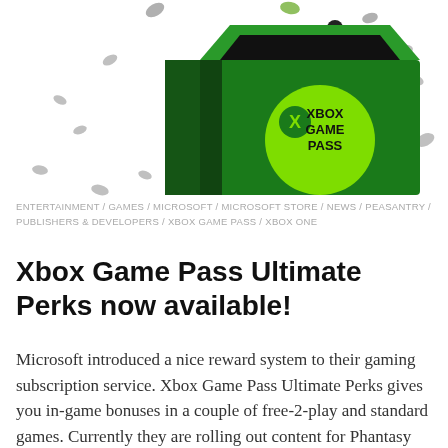[Figure (photo): An open green Xbox Series X box with Xbox Game Pass logo on the front, surrounded by scattered confetti dots (grey, dark, green) on a white background.]
ENTERTAINMENT / GAMES / MICROSOFT / MICROSOFT STORE / NEWS / PEASANTRY / PUBLISHERS & DEVELOPERS / XBOX GAME PASS / XBOX ONE
Xbox Game Pass Ultimate Perks now available!
Microsoft introduced a nice reward system to their gaming subscription service. Xbox Game Pass Ultimate Perks gives you in-game bonuses in a couple of free-2-play and standard games. Currently they are rolling out content for Phantasy Star Online 2, World of Tanks: